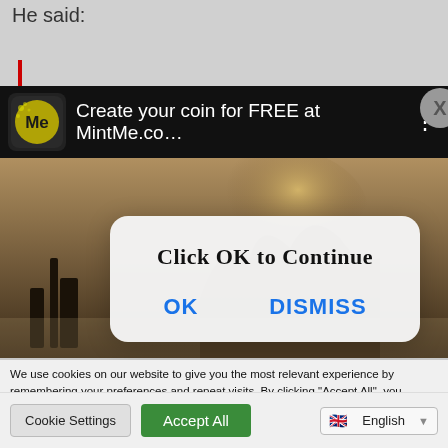He said:
[Figure (screenshot): MintMe advertisement banner on black background with logo and text 'Create your coin for FREE at MintMe.co...' with close button]
[Figure (photo): Dark fantasy/action background image with figures in a misty scene]
[Figure (screenshot): Pop-up dialog box with title 'Click OK to Continue' and two buttons: OK and DISMISS]
We use cookies on our website to give you the most relevant experience by remembering your preferences and repeat visits. By clicking “Accept All”, you consent to the use of ALL the cookies. However, you may visit “Cookie Settings” to provide a controlled consent.
Cookie Settings
Accept All
English